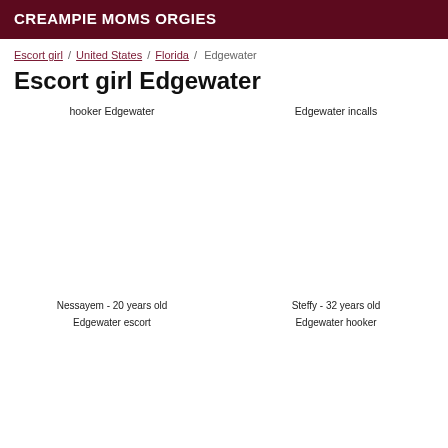CREAMPIE MOMS ORGIES
Escort girl / United States / Florida / Edgewater
Escort girl Edgewater
hooker Edgewater
Edgewater incalls
Nessayem - 20 years old
Steffy - 32 years old
Edgewater escort
Edgewater hooker